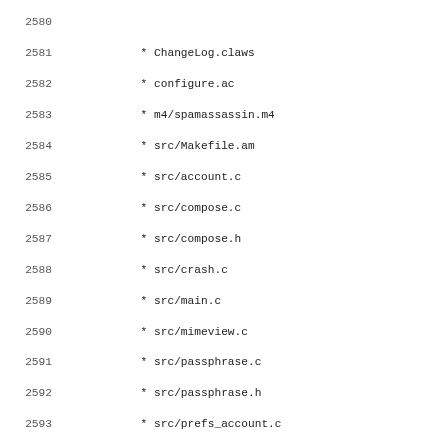2580
2581     * ChangeLog.claws
2582     * configure.ac
2583     * m4/spamassassin.m4
2584     * src/Makefile.am
2585     * src/account.c
2586     * src/compose.c
2587     * src/compose.h
2588     * src/crash.c
2589     * src/main.c
2590     * src/mimeview.c
2591     * src/passphrase.c
2592     * src/passphrase.h
2593     * src/prefs_account.c
2594     * src/prefs_account.h
2595     * src/prefs_common.c
2596     * src/privacy.c
2597     * src/privacy.h
2598     * src/procmime.c
2599     * src/procmime.h
2600     * src/procmsg.c
2601     * src/rfc2015.c
2602     * src/rfc2015.h
2603     * src/select-keys.c
2604     * src/select-keys.h
2605     * src/textview.c
2606     * src/common/utils.c
2607     * src/common/utils.h
2608     * src/gtk/about.c
2609     * src/plugins/pgpmime/Makefile.am
2610     * src/plugins/pgpmime/passphrase.c
2611     * src/plugins/pgpmime/passphrase.h